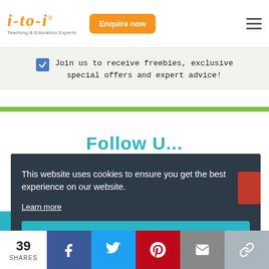[Figure (logo): i-to-i Teaching & Education Experts logo in orange italic script]
Enquire now
Join us to receive freebies, exclusive special offers and expert advice!
This website uses cookies to ensure you get the best experience on our website.
Learn more
Got it!
39
SHARES